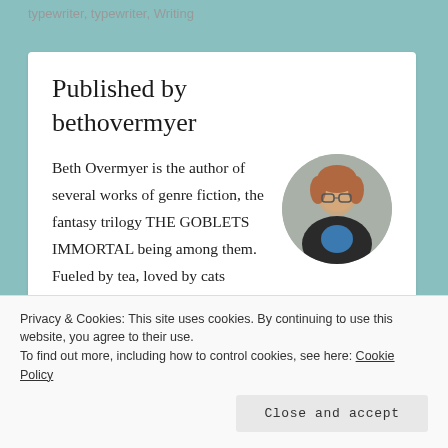typewriter, typewriter, Writing
Published by bethovermyer
[Figure (photo): Circular profile photo of Beth Overmyer, a woman with glasses and reddish-brown hair, wearing a dark jacket over a blue top, against a grey background.]
Beth Overmyer is the author of several works of genre fiction, the fantasy trilogy THE GOBLETS IMMORTAL being among them. Fueled by tea, loved by cats everywhere, she balances her home life with writing novels and
Privacy & Cookies: This site uses cookies. By continuing to use this website, you agree to their use.
To find out more, including how to control cookies, see here: Cookie Policy
Close and accept